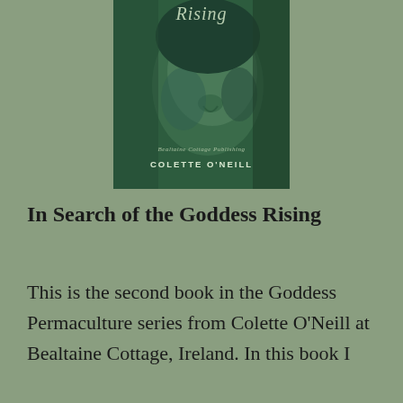[Figure (illustration): Book cover for 'In Search of the Goddess Rising' by Colette O'Neill, published by Bealtaine Cottage Publishing. Dark green cover with a close-up face in shadow and stylized cursive title text.]
In Search of the Goddess Rising
This is the second book in the Goddess Permaculture series from Colette O'Neill at Bealtaine Cottage, Ireland. In this book I